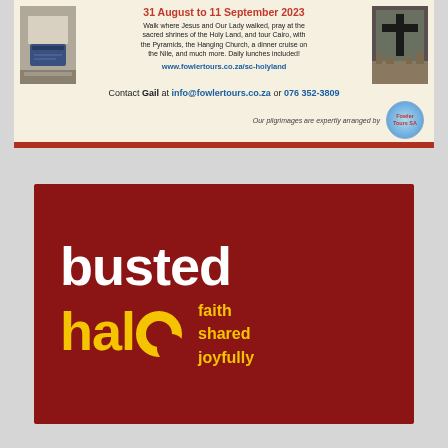[Figure (infographic): Fowler Tours Holy Land pilgrimage advertisement. Top section with cream background shows dates '31 August to 11 September 2023', descriptive text about walking where Jesus walked, praying at sacred shrines, touring Cairo, URL www.fowlertours.co.za/sc-holyland, contact info for Gail at info@fowlertours.co.za or 076 352-3809, Fowler Tours SA logo badge, flanked by photos of a Bible/altar on left and a cross with Jerusalem skyline on right. Red bar at bottom.]
[Figure (logo): Busted Halo logo on dark red background. 'busted' in large white bold text, 'halo' in large yellow bold text with a partially broken circular 'o', followed by 'faith shared joyfully' in yellow text.]